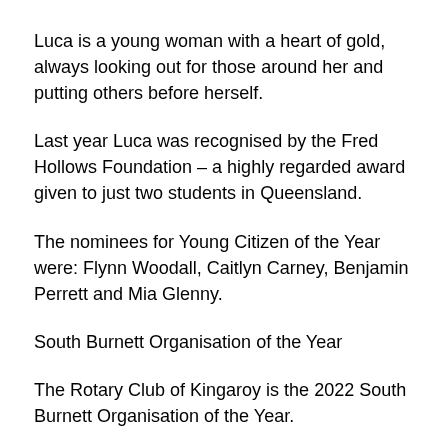Luca is a young woman with a heart of gold, always looking out for those around her and putting others before herself.
Last year Luca was recognised by the Fred Hollows Foundation – a highly regarded award given to just two students in Queensland.
The nominees for Young Citizen of the Year were: Flynn Woodall, Caitlyn Carney, Benjamin Perrett and Mia Glenny.
South Burnett Organisation of the Year
The Rotary Club of Kingaroy is the 2022 South Burnett Organisation of the Year.
A group of 23 members who give their time and efforts to